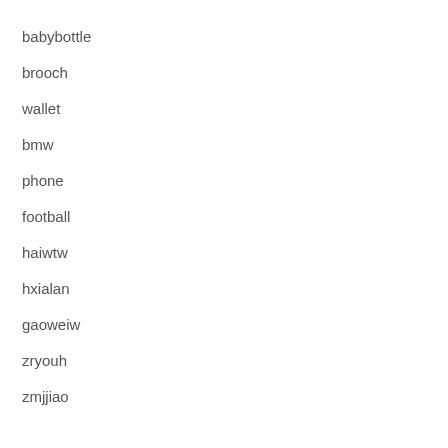babybottle
brooch
wallet
bmw
phone
football
haiwtw
hxialan
gaoweiw
zryouh
zmjjiao